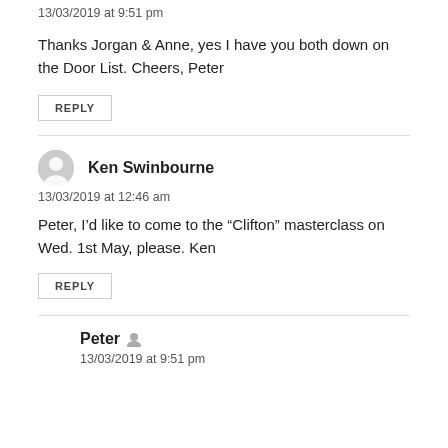13/03/2019 at 9:51 pm
Thanks Jorgan & Anne, yes I have you both down on the Door List. Cheers, Peter
REPLY
Ken Swinbourne
13/03/2019 at 12:46 am
Peter, I’d like to come to the “Clifton” masterclass on Wed. 1st May, please. Ken
REPLY
Peter
13/03/2019 at 9:51 pm